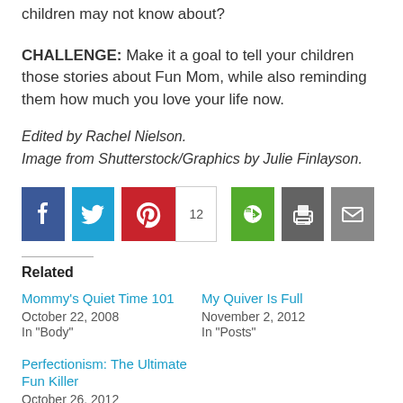children may not know about?
CHALLENGE: Make it a goal to tell your children those stories about Fun Mom, while also reminding them how much you love your life now.
Edited by Rachel Nielson.
Image from Shutterstock/Graphics by Julie Finlayson.
[Figure (infographic): Social sharing buttons: Facebook, Twitter, Pinterest (12 saves), Evernote, Print, Email]
Related
Mommy's Quiet Time 101
October 22, 2008
In "Body"
My Quiver Is Full
November 2, 2012
In "Posts"
Perfectionism: The Ultimate Fun Killer
October 26, 2012